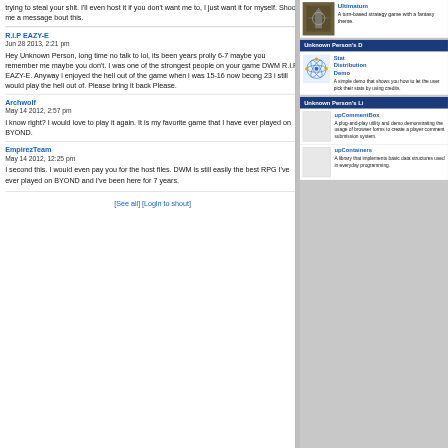trying to steal your shit. I'll even host it if you don't want me to, I just want it for myself. Shoot me a message bout this.
R.I.P EAZY-E
Jun 28 2013, 2:21 pm
Hey Unknown Person, long time no talk to lol, its been years prolly 6-7 maybe you remember me maybe you don't. I was one of the strongest people on your game DWM R.I.P EAZY-E. Anyway i enjoyed the hell out of the game when i was 15-16 now beong 23 i still would play the hell out of. Please bring it back Please.
Archwolf
May 14 2012, 2:57 pm
I know right? I would love to play it again. It is my favorite game that I have ever played on BYOND.
EmpirezTeam
May 14 2012, 12:25 pm
I second this. I would even pay you for the host files. DWM is still easily the best RPG I've ever played on BYOND and I've been here for 7 years.
[See all] [Login to shout]
Ultimatum
A turn-based strategy game with a fantasy theme.
Unknown Person's D
Stat Distribution Demo
A simple demo that shows you how to let the user pick their stats by using credits.
Unknown Person's Li
upCommentBox
A plug-and-play utility and demo demonstrating the usage of browser forms to create a player comment submission system.
upContainers
A library that implements basic data structures used in everyday programming.